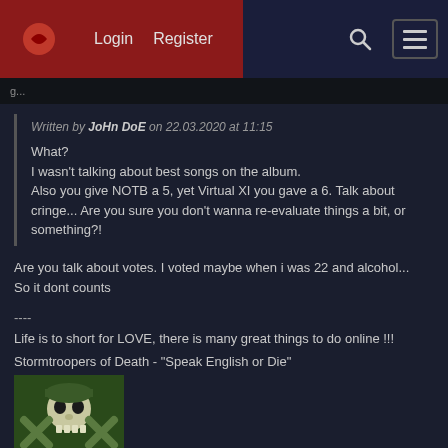Login  Register
Written by JoHn DoE on 22.03.2020 at 11:15
What?
I wasn't talking about best songs on the album.
Also you give NOTB a 5, yet Virtual XI you gave a 6. Talk about cringe... Are you sure you don't wanna re-evaluate things a bit, or something?!
Are you talk about votes. I voted maybe when i was 22 and alcohol...
So it dont counts
----
Life is to short for LOVE, there is many great things to do online !!!
Stormtroopers of Death - "Speak English or Die"
[Figure (photo): Album cover image for Stormtroopers of Death - Speak English or Die, showing a green military-styled skull character]
I better die because I never will learn speak english, so show